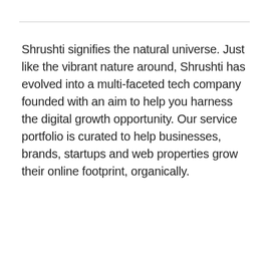Shrushti signifies the natural universe. Just like the vibrant nature around, Shrushti has evolved into a multi-faceted tech company founded with an aim to help you harness the digital growth opportunity. Our service portfolio is curated to help businesses, brands, startups and web properties grow their online footprint, organically.